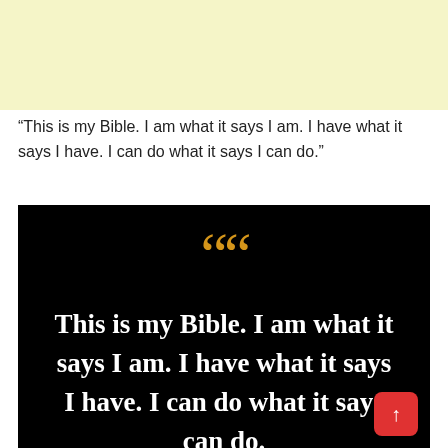[Figure (illustration): Light yellow/cream colored header banner at top of page]
“This is my Bible. I am what it says I am. I have what it says I have. I can do what it says I can do.”
[Figure (illustration): Black background quote card with large golden double quotation marks and white bold text reading: This is my Bible. I am what it says I am. I have what it says I have. I can do what it says I can do. A red scroll-to-top button is in the bottom right corner.]